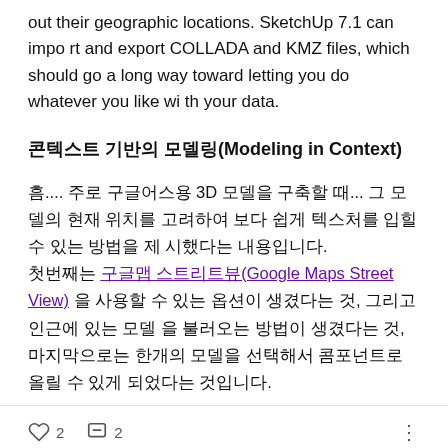out their geographic locations. SketchUp 7.1 can import and export COLLADA and KMZ files, which should go a long way toward letting you do whatever you like with your data.
콘텍스트 기반의 모델링(Modeling in Context)
흠.... 주로 구글어스용 3D 모델을 구축할 때... 그 모델의 현재 위치를 고려하여 보다 쉽게 텍스처를 입힐 수 있는 방법을 제시했다는 내용입니다.
첫번째는 구글맵 스트리트뷰(Google Maps Street View) 을 사용할 수 있는 옵션이 생겼다는 것, 그리고 인근에 있는 모델을 불러오는 방법이 생겼다는 것, 마지막으로는 한개의 모델을 선택해서 콤포넌트로 올릴 수 있게 되었다는 것입니다.
♡ 2   💬 2   ⋮